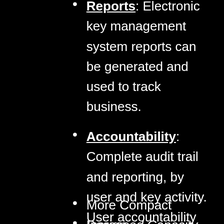Reports: Electronic key management system reports can be generated and used to track business.
Accountability: Complete audit trail and reporting, by user and key activity. User accountability reduces lost keys. Fewer lost keys leads to lower expenses and improved security.
More Compact Design
Increased Capacity